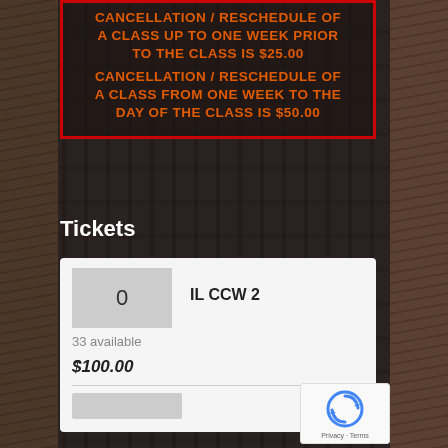CANCELLATION / RESCHEDULE OF A CLASS UP TO ONE WEEK PRIOR TO THE CLASS IS $25.00 CANCELLATION / RESCHEDULE OF A CLASS FROM ONE WEEK TO THE DAY OF THE CLASS IS $50.00
Tickets
| Qty | Ticket Name |
| --- | --- |
| 0 | IL CCW 2 |
33 available
$100.00